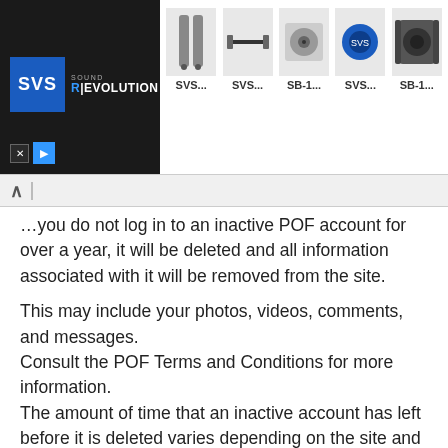[Figure (screenshot): SVS Sound Revolution advertisement banner showing logo on dark background and 5 product images with labels SVS..., SVS..., SB-1..., SVS..., SB-1...]
...you do not log in to an inactive POF account for over a year, it will be deleted and all information associated with it will be removed from the site.
This may include your photos, videos, comments, and messages. Consult the POF Terms and Conditions for more information. The amount of time that an inactive account has left before it is deleted varies depending on the site and can range anywhere from 3 months to 2 years.